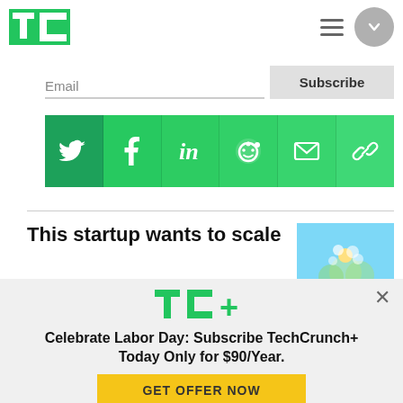TechCrunch (TC logo) with hamburger menu and chevron circle
Email
Subscribe
[Figure (infographic): Social share bar with Twitter, Facebook, LinkedIn, Reddit, Email, and Link icons on green background]
This startup wants to scale
[Figure (photo): Thumbnail image of flowers with light blue/green background]
[Figure (logo): TC+ logo in green]
Celebrate Labor Day: Subscribe TechCrunch+ Today Only for $90/Year.
GET OFFER NOW